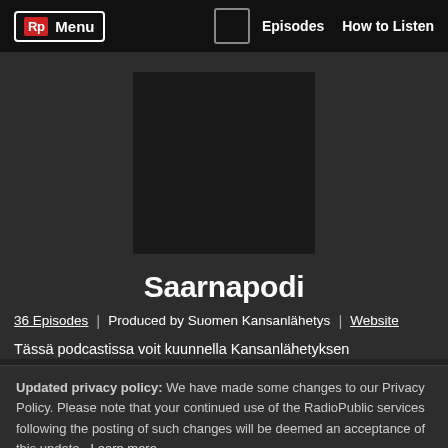Rp Menu | Episodes | How to Listen
[Figure (photo): Dark square podcast artwork placeholder for Saarnapodi]
Saarnapodi
36 Episodes | Produced by Suomen Kansanlähetys | Website
Tässä podcastissa voit kuunnella Kansanlähetyksen
Updated privacy policy: We have made some changes to our Privacy Policy. Please note that your continued use of the RadioPublic services following the posting of such changes will be deemed an acceptance of this update. Learn more.